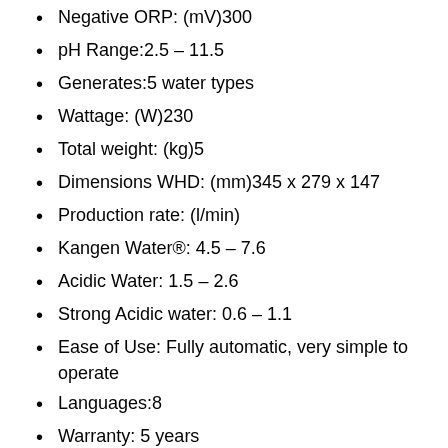Negative ORP: (mV)300
pH Range:2.5 – 11.5
Generates:5 water types
Wattage: (W)230
Total weight: (kg)5
Dimensions WHD: (mm)345 x 279 x 147
Production rate: (l/min)
Kangen Water®: 4.5 – 7.6
Acidic Water: 1.5 – 2.6
Strong Acidic water: 0.6 – 1.1
Ease of Use: Fully automatic, very simple to operate
Languages:8
Warranty: 5 years
Higher Antioxidant Power
The mighty K8 is a mighty antioxidant producer! The K8 water ionizer generates a continuous stream of 5